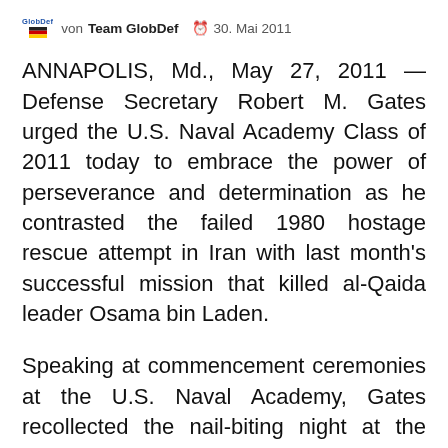von Team GlobDef  30. Mai 2011
ANNAPOLIS, Md., May 27, 2011 — Defense Secretary Robert M. Gates urged the U.S. Naval Academy Class of 2011 today to embrace the power of perseverance and determination as he contrasted the failed 1980 hostage rescue attempt in Iran with last month's successful mission that killed al-Qaida leader Osama bin Laden.
Speaking at commencement ceremonies at the U.S. Naval Academy, Gates recollected the nail-biting night at the White House on April 24, 1980. He was executive assistant to the CIA director at the time, he said, and had been involved in planning the operation.